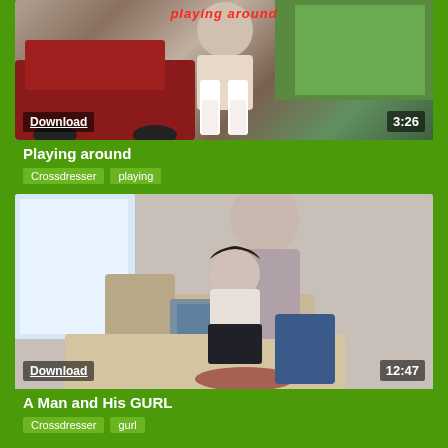[Figure (photo): Video thumbnail showing outdoor scene near red car, with overlay text 'playing around', Download button, and duration 3:26]
Playing around
Crossdresser   playing
[Figure (photo): Video thumbnail showing indoor scene with two people, Download button, and duration 12:47]
A Man and His GURL
Crossdresser   gurl